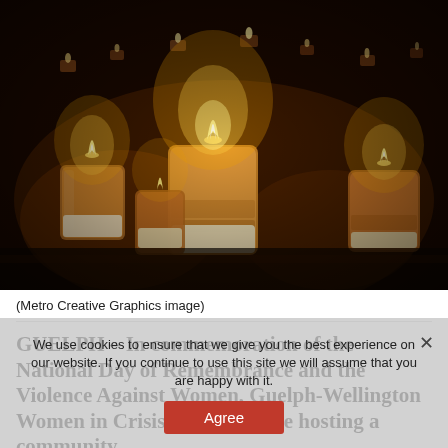[Figure (photo): Multiple tea light candles burning in small glass holders arranged on a dark surface, warm amber glow, dark background]
(Metro Creative Graphics image)
GUELPH – In commemoration of the National Day of Remembrance and the Violence Against Women, Guelph-Wellington Women in Crisis (WIC) will be hosting a community
We use cookies to ensure that we give you the best experience on our website. If you continue to use this site we will assume that you are happy with it.
Agree